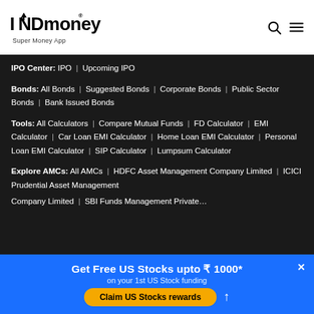[Figure (logo): INDmoney logo with upward arrow on 'N', tagline 'Super Money App']
INDmoney® Super Money App
IPO Center: IPO | Upcoming IPO
Bonds: All Bonds | Suggested Bonds | Corporate Bonds | Public Sector Bonds | Bank Issued Bonds
Tools: All Calculators | Compare Mutual Funds | FD Calculator | EMI Calculator | Car Loan EMI Calculator | Home Loan EMI Calculator | Personal Loan EMI Calculator | SIP Calculator | Lumpsum Calculator
Explore AMCs: All AMCs | HDFC Asset Management Company Limited | ICICI Prudential Asset Management Company Limited | SBI Funds Management Private...
Get Free US Stocks upto ₹ 1000*
on your 1st US Stock funding
Claim US Stocks rewards